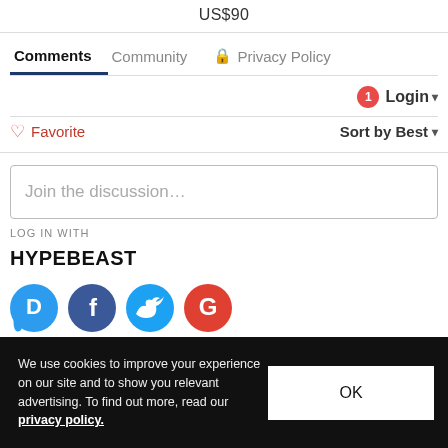US$90
Comments | Community | Privacy Policy
Login
♡ Favorite   Sort by Best
Join the discussion...
LOG IN WITH
HYPEBEAST
[Figure (illustration): Social login icons: Disqus (blue D), Facebook (dark blue F), Twitter (light blue bird), Google (red G)]
We use cookies to improve your experience on our site and to show you relevant advertising. To find out more, read our privacy policy.